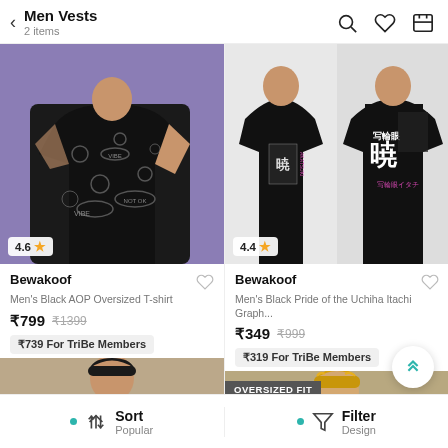Men Vests — 2 items
[Figure (photo): Man wearing black AOP oversized t-shirt on purple background, rating 4.6 stars]
Bewakoof
Men's Black AOP Oversized T-shirt
₹799  ₹1399
₹739 For TriBe Members
[Figure (photo): Man wearing black Pride of the Uchiha Itachi graphic t-shirt (front and back view), rating 4.4 stars]
Bewakoof
Men's Black Pride of the Uchiha Itachi Graph...
₹349  ₹999
₹319 For TriBe Members
[Figure (photo): Partial thumbnail of a man in a product photo (left column bottom)]
[Figure (photo): Partial thumbnail of a blonde man in a product photo (right column bottom), with OVERSIZED FIT badge]
Sort  Popular   Filter  Design